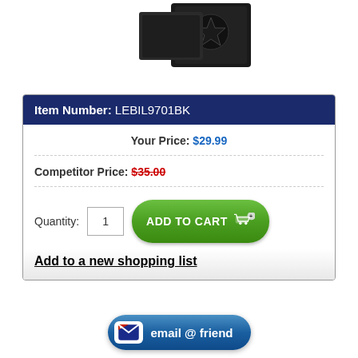[Figure (photo): Product image of a black leather billfold/wallet with Columbus Blue Jackets logo embossed]
Item Number: LEBIL9701BK
Your Price: $29.99
Competitor Price: $35.00
[Figure (other): Add to Cart button with green gradient and shopping cart icon]
Add to a new shopping list
[Figure (other): Email @ friend button with blue rounded rectangle and envelope icon]